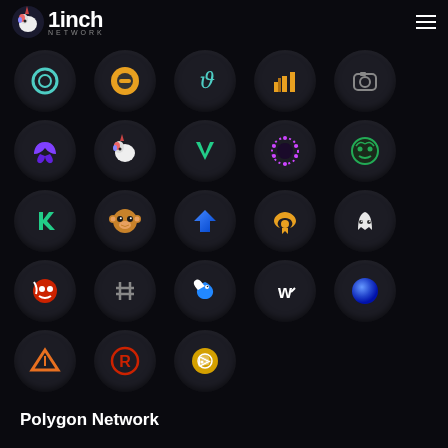[Figure (screenshot): 1inch Network DEX aggregator interface showing Polygon Network with a grid of protocol/token logos on a dark background]
Polygon Network